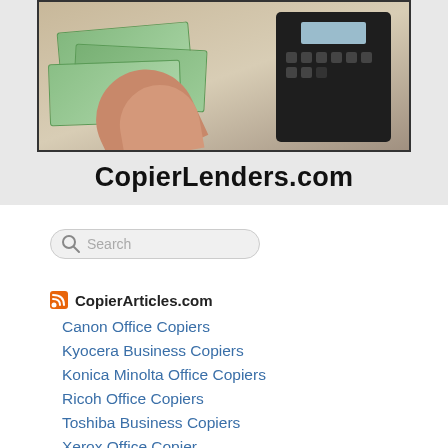[Figure (photo): Banner image showing hands holding US dollar bills next to a copier/scanner machine, with the text CopierLenders.com below on a light gray background]
[Figure (other): Search bar with magnifying glass icon and placeholder text 'Search']
CopierArticles.com
Canon Office Copiers
Kyocera Business Copiers
Konica Minolta Office Copiers
Ricoh Office Copiers
Toshiba Business Copiers
Xerox Office Copiers (partially visible)